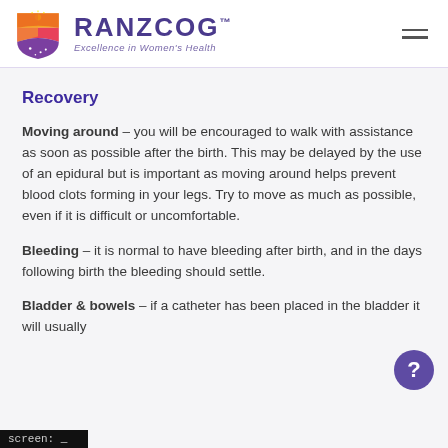RANZCOG™ Excellence in Women's Health
Recovery
Moving around – you will be encouraged to walk with assistance as soon as possible after the birth. This may be delayed by the use of an epidural but is important as moving around helps prevent blood clots forming in your legs. Try to move as much as possible, even if it is difficult or uncomfortable.
Bleeding – it is normal to have bleeding after birth, and in the days following birth the bleeding should settle.
Bladder & bowels – if a catheter has been placed in the bladder it will usually
[Figure (other): Purple circular help button with white question mark]
screen: _